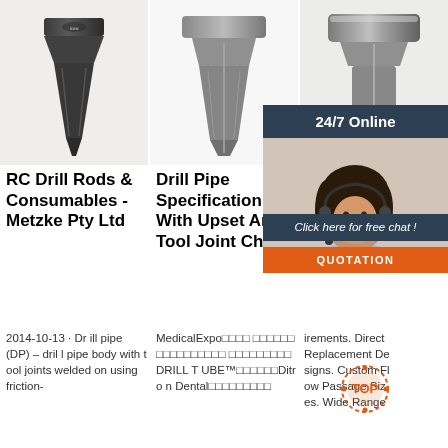[Figure (photo): Three drill bit / tool joint images in a row: left shows a dark trapezoidal drill bit, center shows a similar gray spade-shaped bit, right shows another metallic tool joint piece]
RC Drill Rods & Consumables - Metzke Pty Ltd
Drill Pipe Specification With Upset And Tool Joint Chart
DR... TM...
2014-10-13 · Drill pipe (DP) – drill pipe body with tool joints welded on using friction-
MedicalExpo□□□□ □□□□□□□□□□□□□□□□ □□□□□□□□□DRILL TUBE™□□□□□□Ditron Dental□□□□□□□□□
irements. Direct Replacement Designs. Custom Flow Passage Sizes. Wide Range
[Figure (photo): Customer service agent woman wearing headset, smiling, with 24/7 Online banner and Click here for free chat overlay and QUOTATION button]
[Figure (logo): TOP orange circular badge/logo]